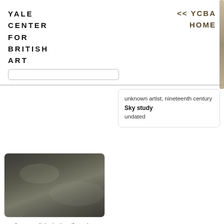YALE CENTER FOR BRITISH ART
<< YCBA HOME
[Figure (photo): Dark stormy cloud sky study painting, oil on canvas, dark grey tones]
unknown artist, nineteenth century
Sky study
undated
unknown artist, nineteenth century
Sky study
undated
[Figure (photo): Sunset sky study painting with orange and red tones at horizon]
unknown artist, nineteenth